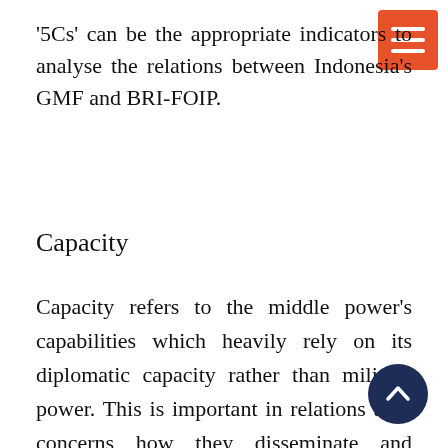'5Cs' can be the appropriate indicators to analyse the relations between Indonesia's GMF and BRI-FOIP.
Capacity
Capacity refers to the middle power's capabilities which heavily rely on its diplomatic capacity rather than military power. This is important in relations as it concerns how they disseminate and influence others with their ideas. Indonesia as a middle power also emphasises its diplomatic capacity when promoting the idea of the Indo-Pacific based on ASEAN centrality. How